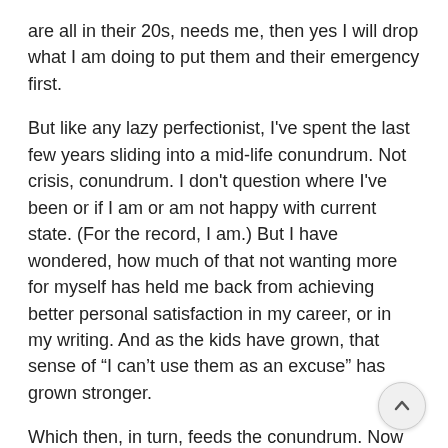are all in their 20s, needs me, then yes I will drop what I am doing to put them and their emergency first.
But like any lazy perfectionist, I've spent the last few years sliding into a mid-life conundrum. Not crisis, conundrum. I don't question where I've been or if I am or am not happy with current state. (For the record, I am.) But I have wondered, how much of that not wanting more for myself has held me back from achieving better personal satisfaction in my career, or in my writing. And as the kids have grown, that sense of “I can’t use them as an excuse” has grown stronger.
Which then, in turn, feeds the conundrum. Now that I may have more time to focus on a career, is there still time? Do I care? Would I be just as happy in my curr state five years from now?